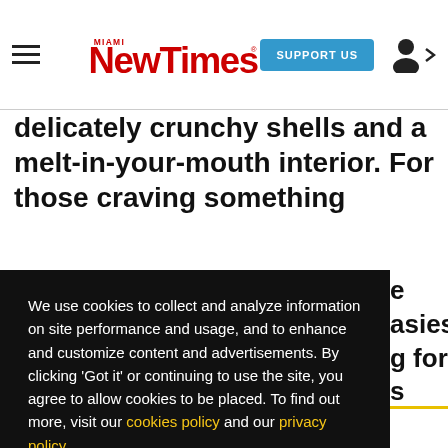Miami New Times — SUPPORT US
delicately crunchy shells and a melt-in-your-mouth interior. For those craving something
We use cookies to collect and analyze information on site performance and usage, and to enhance and customize content and advertisements. By clicking 'Got it' or continuing to use the site, you agree to allow cookies to be placed. To find out more, visit our cookies policy and our privacy policy.
Got it!
BEST OF MIAMI — PEOPLE & PLACES — 2000